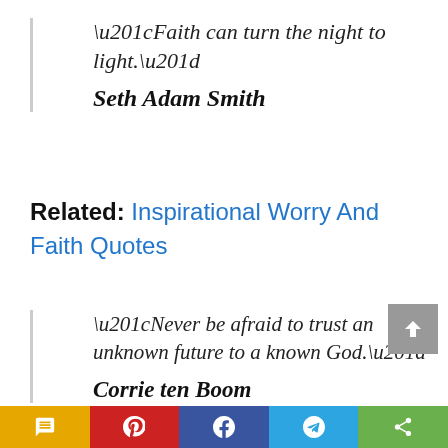“Faith can turn the night to light.”
Seth Adam Smith
Related: Inspirational Worry And Faith Quotes
“Never be afraid to trust an unknown future to a known God.”
Corrie ten Boom